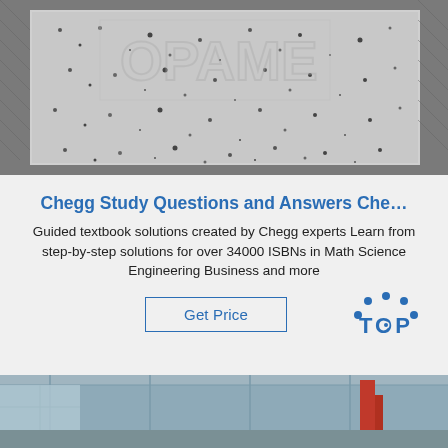[Figure (photo): Granite or stone surface with faint letter outlines carved or drawn on it, photographed from above on a textured background]
Chegg Study Questions and Answers Che…
Guided textbook solutions created by Chegg experts Learn from step-by-step solutions for over 34000 ISBNs in Math Science Engineering Business and more
[Figure (logo): Get Price button and TOP logo with blue dots arranged in an arc above the word TOP]
[Figure (photo): Industrial interior scene with metal structures and red equipment visible]